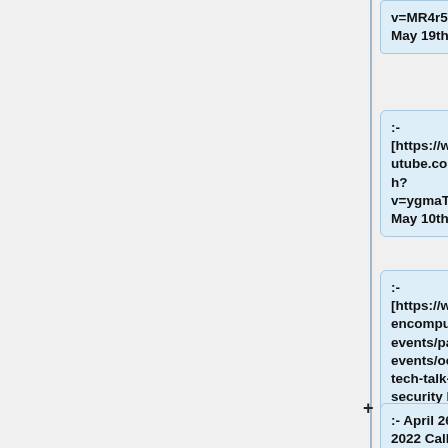v=MR4r5Td7E54 May 19th, 2022]
:- [https://www.youtube.com/watch?v=ygmaTc6n078 May 10th, 2022]
:- [https://www.opencompute.org/events/past-events/ocp-tech-talk-series-security May 3rd, 2022 Security Project Tech Talk]
:- April 26th, 2022 Call Not Recorded